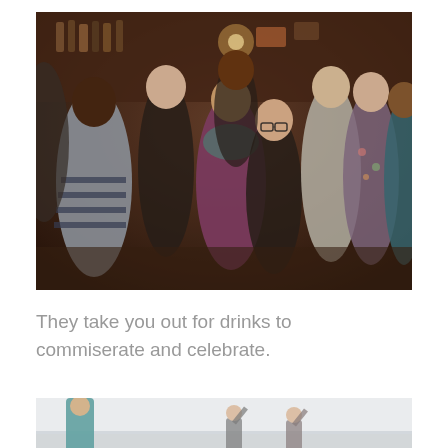[Figure (photo): Group photo of approximately 8-9 young women smiling together inside a bar or restaurant setting with bottles and decorations visible in the background.]
They take you out for drinks to commiserate and celebrate.
[Figure (photo): Partial photo showing people outdoors near water or a beach in misty/foggy conditions, with a person in teal/blue clothing visible on the left.]